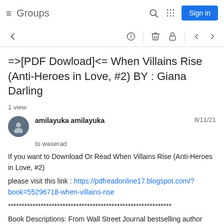Groups — Sign in
=>[PDF Dowload]<= When Villains Rise (Anti-Heroes in Love, #2) BY : Giana Darling
1 view
amilayuka amilayuka   8/11/21
to waserad
If you want to Download Or Read When Villains Rise (Anti-Heroes in Love, #2)

please visit this link : https://pdfreadonline17.blogspot.com/?book=55296718-when-villains-rise

************************************************************
Book Descriptions: From Wall Street Journal bestselling author Giana Darling comes the conclusion to the Anti-Heroes in Love